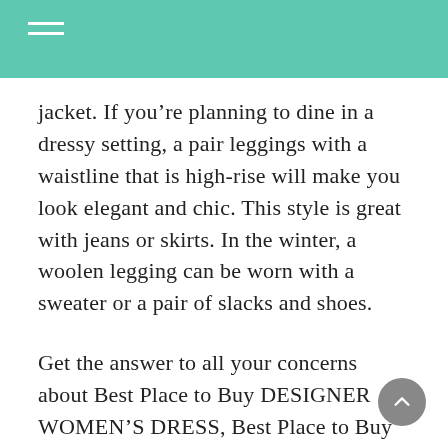jacket. If you’re planning to dine in a dressy setting, a pair leggings with a waistline that is high-rise will make you look elegant and chic. This style is great with jeans or skirts. In the winter, a woolen legging can be worn with a sweater or a pair of slacks and shoes.
Get the answer to all your concerns about Best Place to Buy DESIGNER WOMEN’S DRESS, Best Place to Buy DESIGNER WOMEN’S DRESS , and also Best Place to Buy DESIGNER WOMEN’S DRESS …